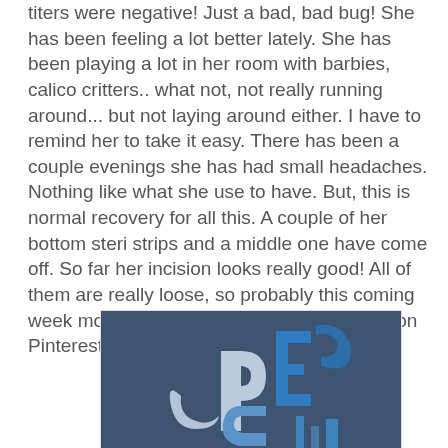titers were negative! Just a bad, bad bug! She has been feeling a lot better lately. She has been playing a lot in her room with barbies, calico critters.. what not, not really running around... but not laying around either. I have to remind her to take it easy. There has been a couple evenings she has had small headaches. Nothing like what she use to have. But, this is normal recovery for all this. A couple of her bottom steri strips and a middle one have come off. So far her incision looks really good! All of them are really loose, so probably this coming week more will be coming off. I saw this pic on Pinterest.... couldn't be any more fitting!
[Figure (illustration): Dark navy blue background image with large stylized letters/typography in shades of blue and white, partially cut off. Appears to be a motivational or inspirational graphic image shared from Pinterest.]